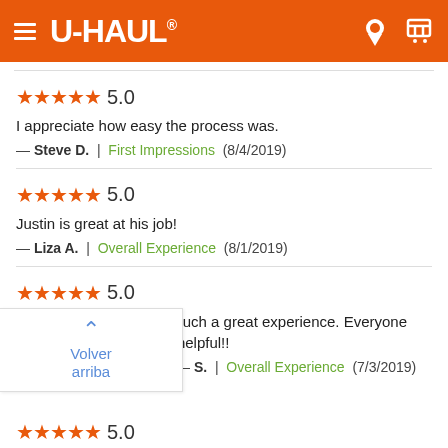[Figure (logo): U-Haul orange header bar with hamburger menu, U-HAUL logo, location pin icon and cart icon]
★★★★★ 5.0
I appreciate how easy the process was.
— Steve D. | First Impressions (8/4/2019)
★★★★★ 5.0
Justin is great at his job!
— Liza A. | Overall Experience (8/1/2019)
★★★★★ 5.0
Thank you uhaul JC for such a great experience. Everyone was so amazing and so helpful!!
— ...S. | Overall Experience (7/3/2019)
Volver arriba
★★★★★ 5.0